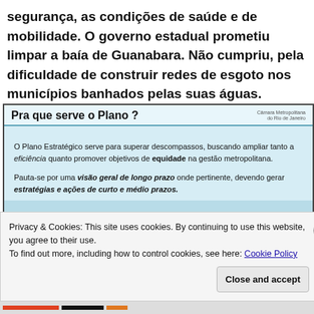segurança, as condições de saúde e de mobilidade. O governo estadual prometiu limpar a baía de Guanabara. Não cumpriu, pela dificuldade de construir redes de esgoto nos municípios banhados pelas suas águas.
[Figure (screenshot): Slide titled 'Pra que serve o Plano?' with light blue background. Text: O Plano Estratégico serve para superar descompassos, buscando ampliar tanto a eficiência quanto promover objetivos de equidade na gestão metropolitana. Pauta-se por uma visão geral de longo prazo onde pertinente, devendo gerar estratégias e ações de curto e médio prazos.]
Privacy & Cookies: This site uses cookies. By continuing to use this website, you agree to their use.
To find out more, including how to control cookies, see here: Cookie Policy
Close and accept